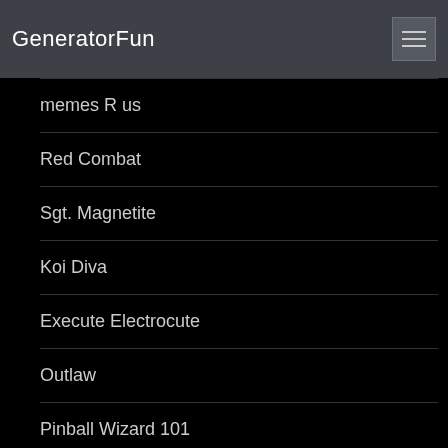GeneratorFun
memes R us
Red Combat
Sgt. Magnetite
Koi Diva
Execute Electrocute
Outlaw
Pinball Wizard 101